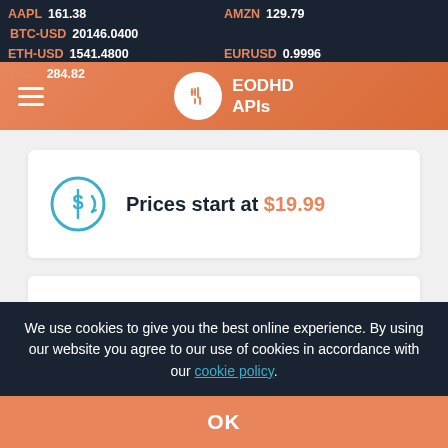AAPL 161.38  AMZN 129.79  BTC-USD 20146.0400  ETH-USD 1541.4800  EURUSD 0.9996  TSLA 284.82
Prices start at $19.99
Fast+ support 24/7 via web-chat and email
We use cookies to give you the best online experience. By using our website you agree to our use of cookies in accordance with our cookie policy.
OK